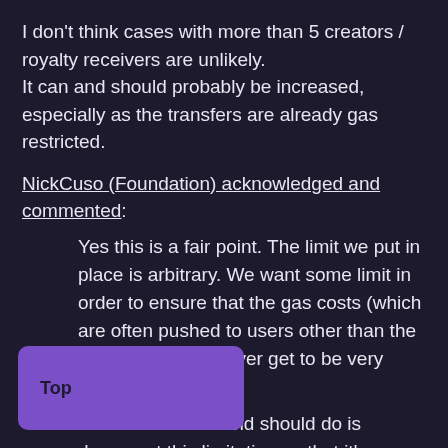I don't think cases with more than 5 creators / royalty receivers are unlikely.
It can and should probably be increased, especially as the transfers are already gas restricted.
NickCuso (Foundation) acknowledged and commented:
Yes this is a fair point. The limit we put in place is arbitrary. We want some limit in order to ensure that the gas costs (which are often pushed to users other than the original creator) never get to be very expensive.
Top
we can and should do is document this limitation so that it's more clear what